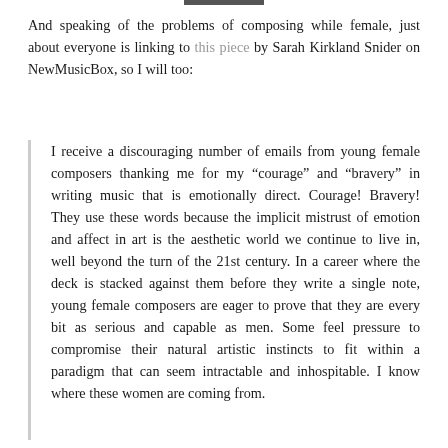And speaking of the problems of composing while female, just about everyone is linking to this piece by Sarah Kirkland Snider on NewMusicBox, so I will too:
I receive a discouraging number of emails from young female composers thanking me for my “courage” and “bravery” in writing music that is emotionally direct. Courage! Bravery! They use these words because the implicit mistrust of emotion and affect in art is the aesthetic world we continue to live in, well beyond the turn of the 21st century. In a career where the deck is stacked against them before they write a single note, young female composers are eager to prove that they are every bit as serious and capable as men. Some feel pressure to compromise their natural artistic instincts to fit within a paradigm that can seem intractable and inhospitable. I know where these women are coming from.